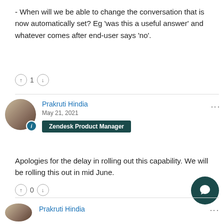- When will we be able to change the conversation that is now automatically set? Eg 'was this a useful answer' and whatever comes after end-user says 'no'.
↑ 1 ↓
Prakruti Hindia
May 21, 2021
Zendesk Product Manager
Apologies for the delay in rolling out this capability. We will be rolling this out in mid June.
↑ 0 ↓
Prakruti Hindia